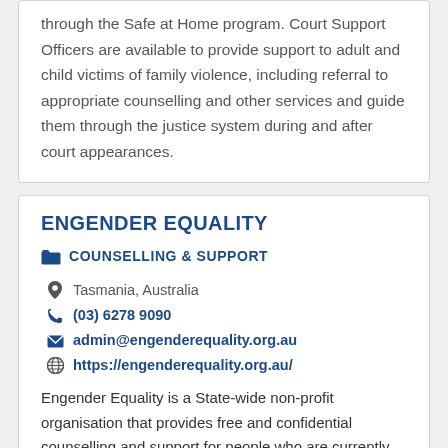through the Safe at Home program. Court Support Officers are available to provide support to adult and child victims of family violence, including referral to appropriate counselling and other services and guide them through the justice system during and after court appearances.
ENGENDER EQUALITY
COUNSELLING & SUPPORT
Tasmania, Australia
(03) 6278 9090
admin@engenderequality.org.au
https://engenderequality.org.au/
Engender Equality is a State-wide non-profit organisation that provides free and confidential counselling and support for people who are currently experiencing or have experienced family violence or